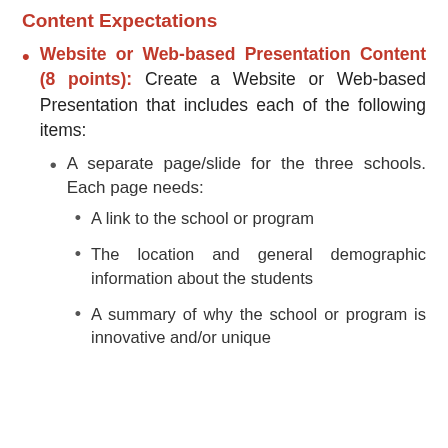Content Expectations
Website or Web-based Presentation Content (8 points): Create a Website or Web-based Presentation that includes each of the following items:
A separate page/slide for the three schools. Each page needs:
A link to the school or program
The location and general demographic information about the students
A summary of why the school or program is innovative and/or unique